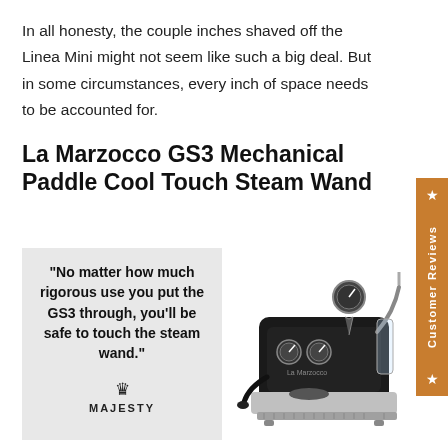In all honesty, the couple inches shaved off the Linea Mini might not seem like such a big deal. But in some circumstances, every inch of space needs to be accounted for.
La Marzocco GS3 Mechanical Paddle Cool Touch Steam Wand
[Figure (infographic): Light grey quote box on the left with bold text reading: "No matter how much rigorous use you put the GS3 through, you'll be safe to touch the steam wand." with a Majesty coffee logo below. On the right, a photo of a La Marzocco GS3 espresso machine in black and stainless steel.]
[Figure (other): Orange vertical tab on the right side of the page with a star, the text 'Customer Reviews', and another star, oriented vertically.]